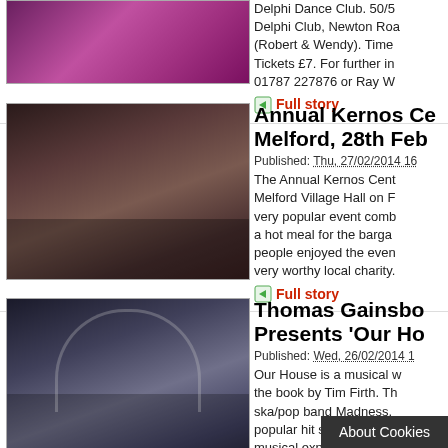[Figure (photo): Dance performance photo, purple/pink stage lighting]
Delphi Dance Club. 50/5... Delphi Club, Newton Roa... (Robert & Wendy). Time... Tickets £7. For further i... 01787 227876 or Ray W...
Full story
[Figure (photo): Crowd gathered at a village hall event]
Annual Kernos Ce... Melford, 28th Feb...
Published: Thu, 27/02/2014 16...
The Annual Kernos Cent... Melford Village Hall on F... very popular event comb... a hot meal for the barga... people enjoyed the even... very worthy local charity.
Full story
[Figure (photo): Stage performance with actors, theatre show]
Thomas Gainsbo... Presents 'Our Ho...
Published: Wed, 26/02/2014 1...
Our House is a musical w... the book by Tim Firth. Th... ska/pop band Madness,... popular hit singles, "Our... musical exploring the tw... from Camden who are...
Full story